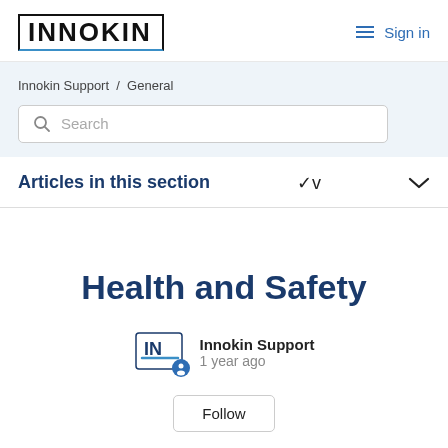INNOKIN  Sign in
Innokin Support / General
Search
Articles in this section
Health and Safety
Innokin Support
1 year ago
Follow